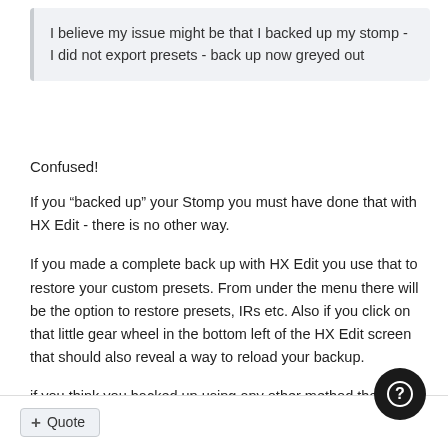I believe my issue might be that I backed up my stomp - I did not export presets - back up now greyed out
Confused!
If you “backed up” your Stomp you must have done that with HX Edit - there is no other way.
If you made a complete back up with HX Edit you use that to restore your custom presets. From under the menu there will be the option to restore presets, IRs etc. Also if you click on that little gear wheel in the bottom left of the HX Edit screen that should also reveal a way to reload your backup.
if you think you backed up using any other method then... oops! You just made a mistake that you will never do again.